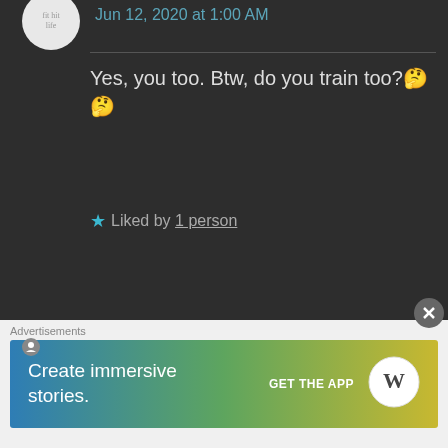Jun 12, 2020 at 1:00 AM
Yes, you too. Btw, do you train too?🤔🤔
★ Liked by 1 person
MOHAMAD TOUTOUNJI says: Jun 12, 2020 at 1:01 AM
Oh yes
Martial arts is my life
My blog contains articles about
Advertisements
Create immersive stories. GET THE APP